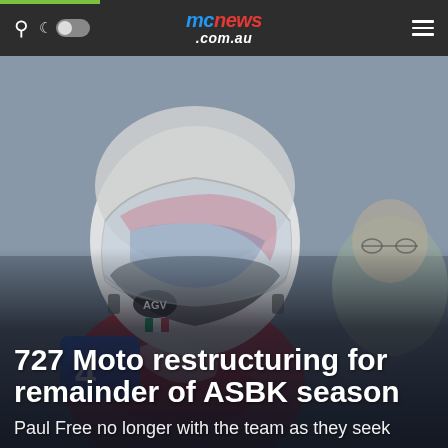mcnews.com.au
[Figure (photo): Motorcycle racer wearing an AGV helmet with visor up, wearing red/white/blue racing leathers with number 4, speaking with an older man in glasses. Background is blurred racing circuit environment. Image is desaturated/dark.]
727 Moto restructuring for remainder of ASBK season
Paul Free no longer with the team as they seek